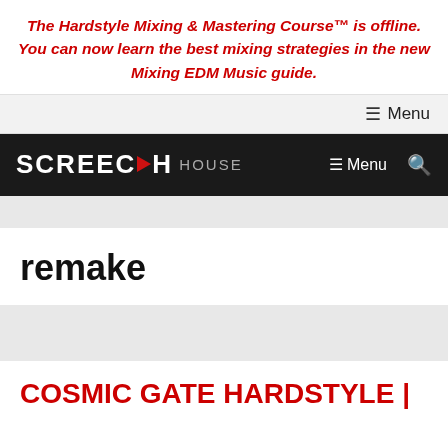The Hardstyle Mixing & Mastering Course™ is offline. You can now learn the best mixing strategies in the new Mixing EDM Music guide.
≡ Menu
[Figure (logo): SCREECH HOUSE logo with red play button triangle between SCREECH and HOUSE text on black background, with hamburger menu and search icon]
remake
COSMIC GATE HARDSTYLE |